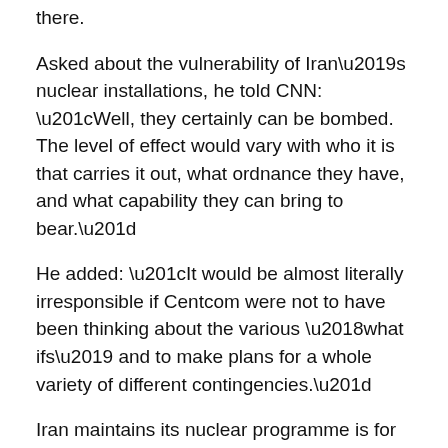there.
Asked about the vulnerability of Iran’s nuclear installations, he told CNN: “Well, they certainly can be bombed. The level of effect would vary with who it is that carries it out, what ordnance they have, and what capability they can bring to bear.”
He added: “It would be almost literally irresponsible if Centcom were not to have been thinking about the various ‘what ifs’ and to make plans for a whole variety of different contingencies.”
Iran maintains its nuclear programme is for peaceful purposes, but the United States and other Western nations fear Tehran wants to acquire nuclear weapons.
Israel has called Iran’s nuclear programme the major